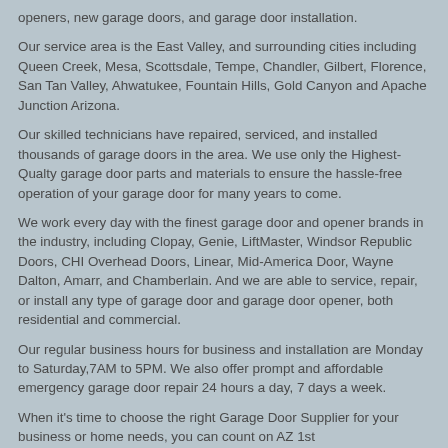openers, new garage doors, and garage door installation.
Our service area is the East Valley, and surrounding cities including Queen Creek, Mesa, Scottsdale, Tempe, Chandler, Gilbert, Florence, San Tan Valley, Ahwatukee, Fountain Hills, Gold Canyon and Apache Junction Arizona.
Our skilled technicians have repaired, serviced, and installed thousands of garage doors in the area. We use only the Highest-Qualty garage door parts and materials to ensure the hassle-free operation of your garage door for many years to come.
We work every day with the finest garage door and opener brands in the industry, including Clopay, Genie, LiftMaster, Windsor Republic Doors, CHI Overhead Doors, Linear, Mid-America Door, Wayne Dalton, Amarr, and Chamberlain. And we are able to service, repair, or install any type of garage door and garage door opener, both residential and commercial.
Our regular business hours for business and installation are Monday to Saturday,7AM to 5PM. We also offer prompt and affordable emergency garage door repair 24 hours a day, 7 days a week.
When it's time to choose the right Garage Door Supplier for your business or home needs, you can count on AZ 1st